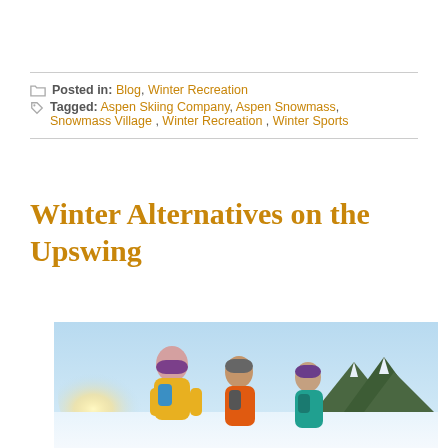Posted in: Blog, Winter Recreation
Tagged: Aspen Skiing Company, Aspen Snowmass, Snowmass Village, Winter Recreation, Winter Sports
Winter Alternatives on the Upswing
[Figure (photo): Three people wearing winter hats and colorful backpacks hiking in a snowy landscape with mountains and bright sunlight in the background]